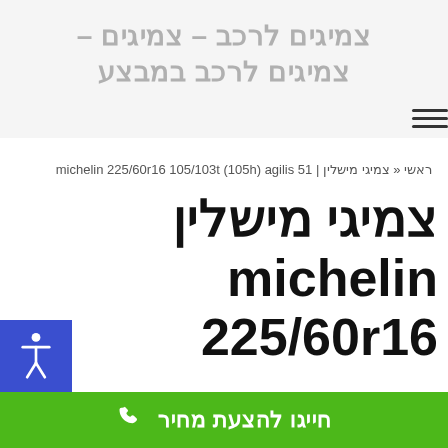צמיגים לרכב – צמיגים – צמיגים לרכב במבצע
ראשי « צמיגי מישלין | michelin 225/60r16 105/103t (105h) agilis 51
צמיגי מישלין michelin 225/60r16
חייגו להצעת מחיר